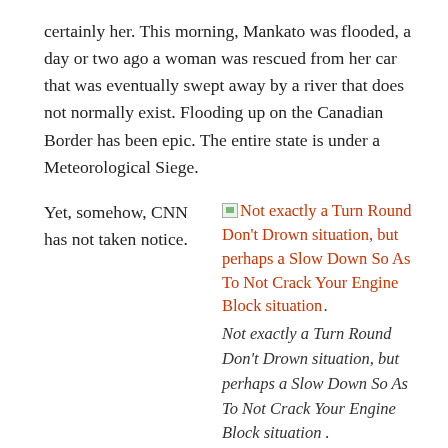certainly her. This morning, Mankato was flooded, a day or two ago a woman was rescued from her car that was eventually swept away by a river that does not normally exist. Flooding up on the Canadian Border has been epic. The entire state is under a Meteorological Siege.
Yet, somehow, CNN has not taken notice.
[Figure (other): Small broken image icon followed by orange hyperlink text: Not exactly a Turn Round Don't Drown situation, but perhaps a Slow Down So As To Not Crack Your Engine Block situation.]
I believe that what is happening here is an expanded, intensified version of what we usually get around this time of year. The Norther Plains has storms in the late Spring and early Summer for various meteorological reasons. But this
Not exactly a Turn Round Don't Drown situation, but perhaps a Slow Down So As To Not Crack Your Engine Block situation .